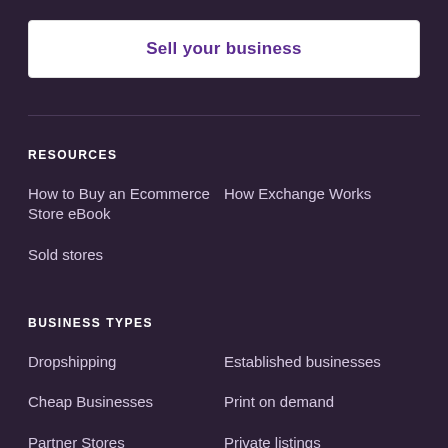Sell your business
RESOURCES
How to Buy an Ecommerce Store eBook
How Exchange Works
Sold stores
BUSINESS TYPES
Dropshipping
Established businesses
Cheap Businesses
Print on demand
Partner Stores
Private listings
Staff picks